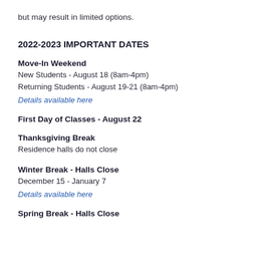but may result in limited options.
2022-2023 IMPORTANT DATES
Move-In Weekend
New Students - August 18 (8am-4pm)
Returning Students - August 19-21 (8am-4pm)
Details available here
First Day of Classes - August 22
Thanksgiving Break
Residence halls do not close
Winter Break - Halls Close
December 15 - January 7
Details available here
Spring Break - Halls Close